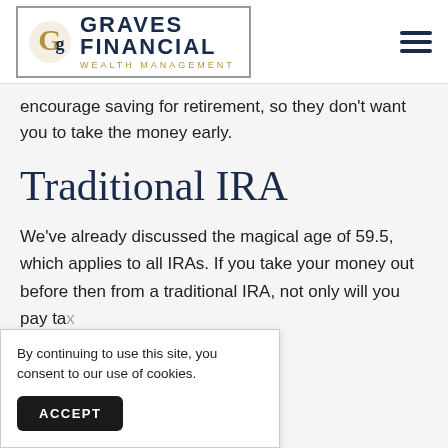Graves Financial Wealth Management
encourage saving for retirement, so they don't want you to take the money early.
Traditional IRA
We've already discussed the magical age of 59.5, which applies to all IRAs. If you take your money out before then from a traditional IRA, not only will you pay taxes, also an early withdrawal penalty, e...
By continuing to use this site, you consent to our use of cookies.